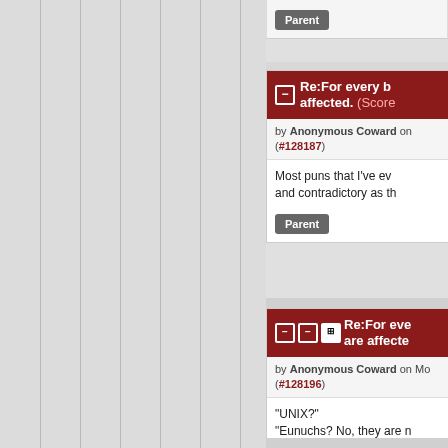[Figure (screenshot): Gray sidebar with vertical separator lines on the left side of the page, representing a web forum thread indentation/nesting indicator]
Parent
Re:For every b affected. (Score
by Anonymous Coward on (#128187)
Most puns that I've ev and contradictory as th
Parent
Re:For eve are affecte
by Anonymous Coward on Mo (#128196)
"UNIX?"
"Eunuchs? No, they are n savages!"
Parent